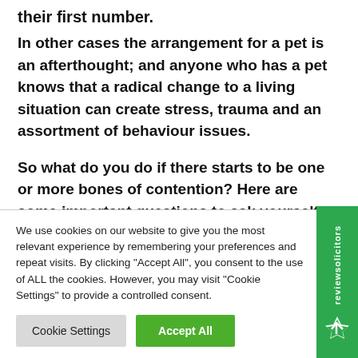their first number.
In other cases the arrangement for a pet is an afterthought; and anyone who has a pet knows that a radical change to a living situation can create stress, trauma and an assortment of behaviour issues.
So what do you do if there starts to be one or more bones of contention? Here are some important questions to ask yourself:
We use cookies on our website to give you the most relevant experience by remembering your preferences and repeat visits. By clicking “Accept All”, you consent to the use of ALL the cookies. However, you may visit "Cookie Settings" to provide a controlled consent.